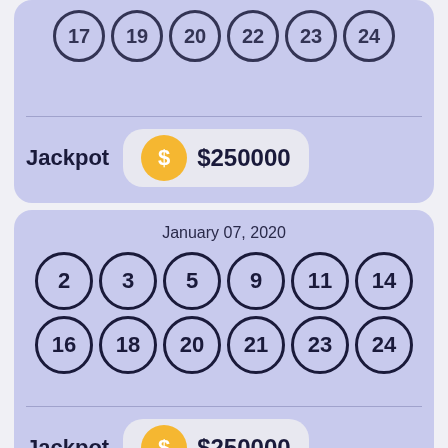[Figure (other): Lottery ticket card (partial, top): two rows of lottery balls showing numbers 17, 19, 20, 22, 23, 24 (visible row), with Jackpot $250000 below]
[Figure (other): Lottery ticket card: January 07, 2020; two rows of lottery balls: 2, 3, 5, 9, 11, 14 and 16, 18, 20, 21, 23, 24; Jackpot $250000]